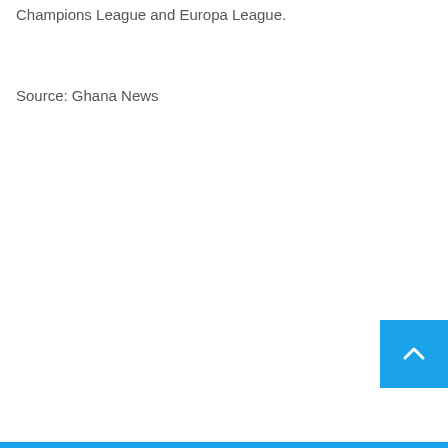Champions League and Europa League.
Source: Ghana News